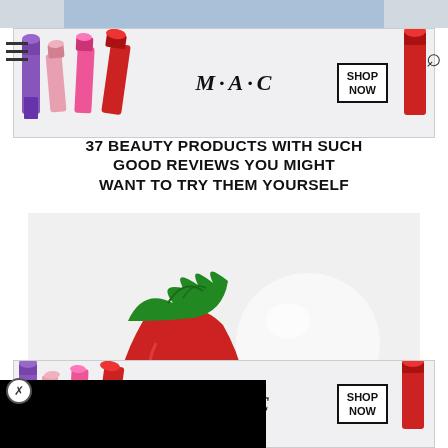[Figure (screenshot): MAC cosmetics advertisement banner at top showing lipsticks in purple, pink, and red with MAC logo and SHOP NOW button]
37 BEAUTY PRODUCTS WITH SUCH GOOD REVIEWS YOU MIGHT WANT TO TRY THEM YOURSELF
[Figure (photo): EOS lip balm in pink and teal container with white spherical top, next to a strawberry on white background]
[Figure (screenshot): Black overlay advertisement covering lower left portion of page]
act, it doesnt have anything. It has no sugar, carbohydrates, cholesterol, or sodium. While its made of fermented grains or vegetables like potatoes, all its nutritional content is lost during the distillation process.
So, the ... thanol and wa...
[Figure (screenshot): MAC cosmetics advertisement banner at bottom showing lipsticks in purple, pink, and red with MAC logo and SHOP NOW button]